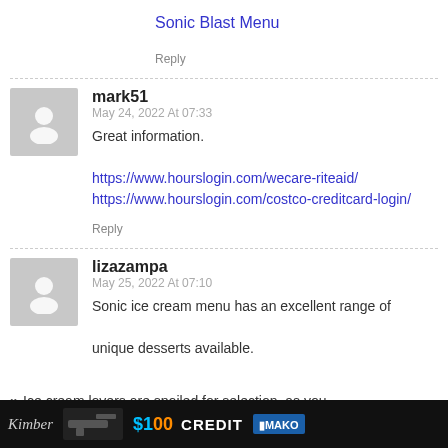Sonic Blast Menu
Reply
mark51
May 24, 2022 At 07:33
Great information.
https://www.hourslogin.com/wecare-riteaid/
https://www.hourslogin.com/costco-creditcard-login/
Reply
lizazampa
May 25, 2022 At 07:10
Sonic ice cream menu has an excellent range of unique desserts available.
"
Ice cream lovers are spoiled for selection, as you
[Figure (infographic): Advertisement banner at bottom: dark background with Kimber logo, firearm image, '$100 CREDIT' text and MAKO logo]